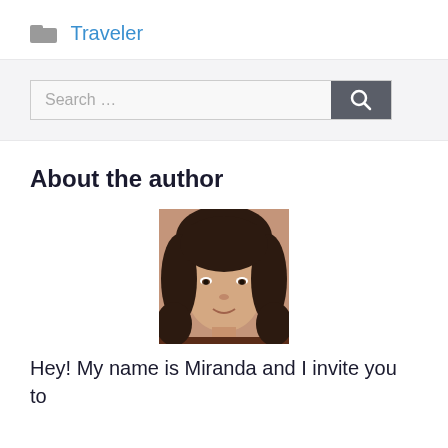Traveler
Search ...
About the author
[Figure (photo): Portrait photo of a young woman with dark hair, looking directly at the camera, wearing a dark top.]
Hey! My name is Miranda and I invite you to